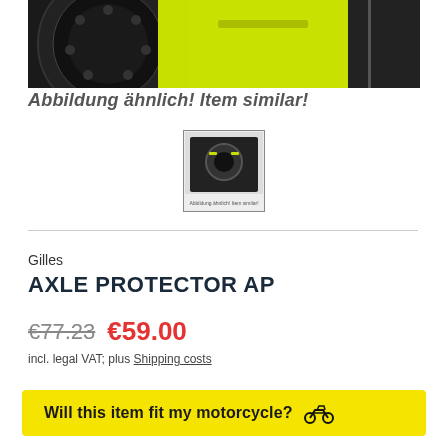[Figure (photo): Close-up of a motorcycle wheel with neon yellow-green frame and dark brake disc, top portion of product image]
Abbildung ähnlich! Item similar!
[Figure (photo): Small thumbnail image of motorcycle axle protector part, with 'Abbildung ähnlich! Item similar!' watermark text]
Gilles
AXLE PROTECTOR AP
€77.23  €59.00
incl. legal VAT; plus Shipping costs
Will this item fit my motorcycle?